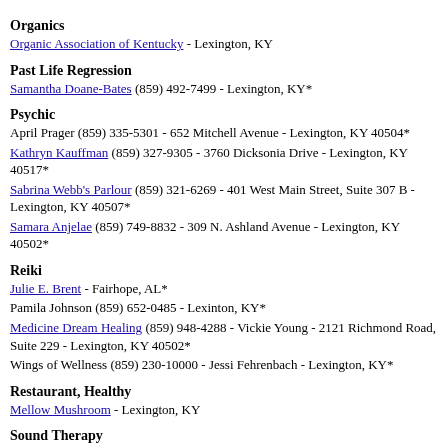Organics
Organic Association of Kentucky - Lexington, KY
Past Life Regression
Samantha Doane-Bates (859) 492-7499 - Lexington, KY*
Psychic
April Prager (859) 335-5301 - 652 Mitchell Avenue - Lexington, KY 40504*
Kathryn Kauffman (859) 327-9305 - 3760 Dicksonia Drive - Lexington, KY 40517*
Sabrina Webb's Parlour (859) 321-6269 - 401 West Main Street, Suite 307 B - Lexington, KY 40507*
Samara Anjelae (859) 749-8832 - 309 N. Ashland Avenue - Lexington, KY 40502*
Reiki
Julie E. Brent - Fairhope, AL*
Pamila Johnson (859) 652-0485 - Lexinton, KY*
Medicine Dream Healing (859) 948-4288 - Vickie Young - 2121 Richmond Road, Suite 229 - Lexington, KY 40502*
Wings of Wellness (859) 230-10000 - Jessi Fehrenbach - Lexington, KY*
Restaurant, Healthy
Mellow Mushroom - Lexington, KY
Sound Therapy